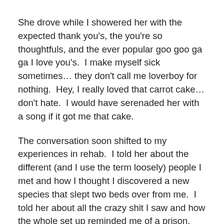She drove while I showered her with the expected thank you's, the you're so thoughtfuls, and the ever popular goo goo ga ga I love you's.  I make myself sick sometimes… they don't call me loverboy for nothing.  Hey, I really loved that carrot cake…don't hate.  I would have serenaded her with a song if it got me that cake.
The conversation soon shifted to my experiences in rehab.  I told her about the different (and I use the term loosely) people I met and how I thought I discovered a new species that slept two beds over from me.  I told her about all the crazy shit I saw and how the whole set up reminded me of a prison.  Then I made it really dramatic and told her about what my mind and body went through while I came off drugs.
I laid it on really thick.  I spared no details.  I told her all of